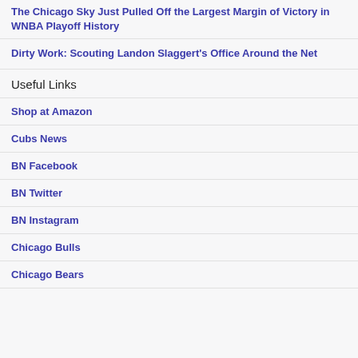The Chicago Sky Just Pulled Off the Largest Margin of Victory in WNBA Playoff History
Dirty Work: Scouting Landon Slaggert's Office Around the Net
Useful Links
Shop at Amazon
Cubs News
BN Facebook
BN Twitter
BN Instagram
Chicago Bulls
Chicago Bears